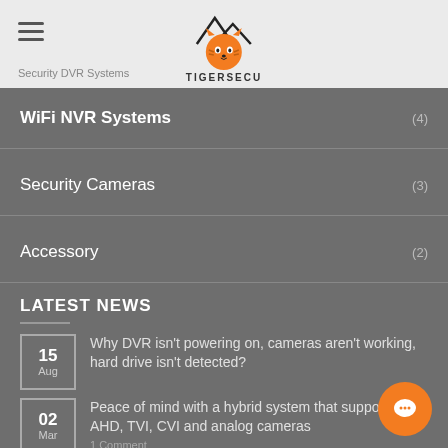TIGERSECU / Security DVR Systems
WiFi NVR Systems (4)
Security Cameras (3)
Accessory (2)
LATEST NEWS
15 Aug — Why DVR isn't powering on, cameras aren't working, hard drive isn't detected?
02 Mar — Peace of mind with a hybrid system that supports AHD, TVI, CVI and analog cameras — 1 Comment
08 — How to fix TIGERSECU DVR network issues?